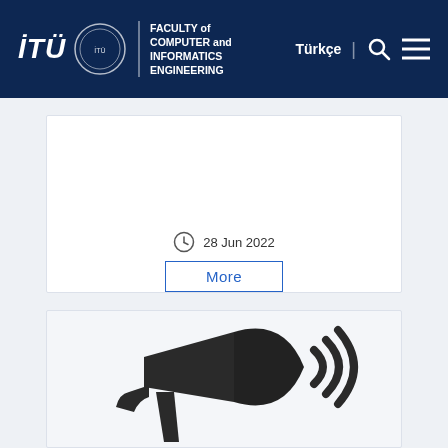İTÜ Faculty of Computer and Informatics Engineering — Türkçe
28 Jun 2022
More
[Figure (illustration): Megaphone / announcement icon in dark gray/black on a light background]